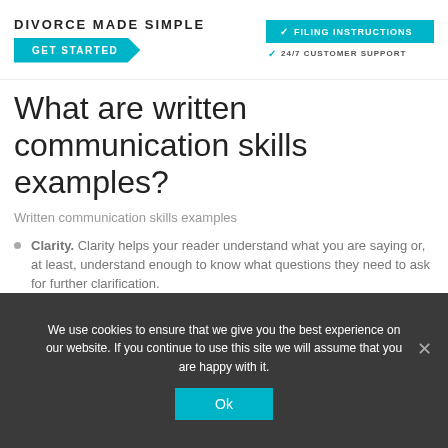DIVORCE MADE SIMPLE | GET STARTED | FILING INSTRUCTIONS | 24/7 CUSTOMER SUPPORT
What are written communication skills examples?
Written communication skills examples
Clarity. Clarity helps your reader understand what you are saying or, at least, understand enough to know what questions they need to ask for further clarification.
Conciseness. It's important to get to your point quickly and efficiently.
Tone.
We use cookies to ensure that we give you the best experience on our website. If you continue to use this site we will assume that you are happy with it.